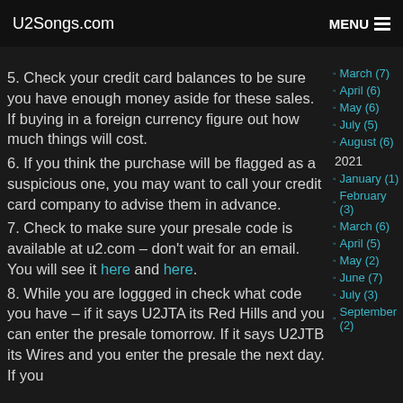U2Songs.com   MENU
5. Check your credit card balances to be sure you have enough money aside for these sales. If buying in a foreign currency figure out how much things will cost.
6. If you think the purchase will be flagged as a suspicious one, you may want to call your credit card company to advise them in advance.
7. Check to make sure your presale code is available at u2.com – don't wait for an email. You will see it here and here.
8. While you are loggged in check what code you have – if it says U2JTA its Red Hills and you can enter the presale tomorrow. If it says U2JTB its Wires and you enter the presale the next day. If you
March (7)
April (6)
May (6)
July (5)
August (6)
2021
January (1)
February (3)
March (6)
April (5)
May (2)
June (7)
July (3)
September (2)